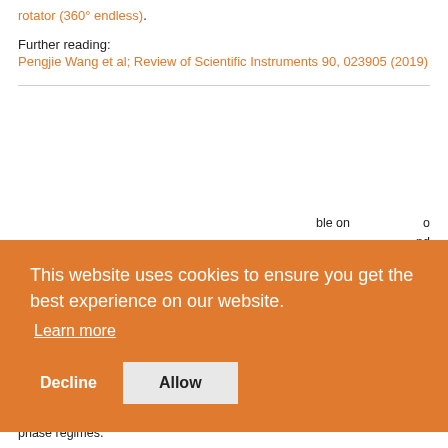rotator (360° endless).
Further reading:
Pengjie Wang et al; Review of Scientific Instruments 90, 023905 (2019)
... by ... es
... o ... ble on ... nd ... proved
[Figure (screenshot): Cookie consent banner overlay with orange background. Text reads: 'This website uses cookies to ensure you get the best experience on our website.' with 'Learn more' link, and two buttons: 'Decline' and 'Allow'.]
phase regimes.